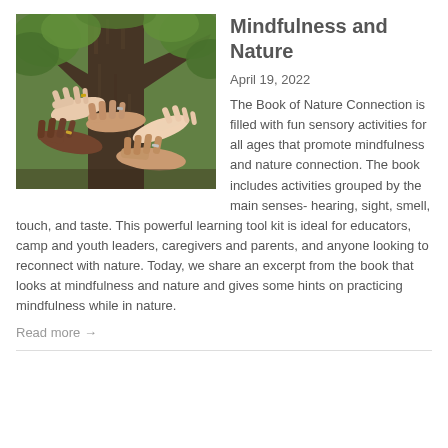[Figure (photo): Multiple hands of different skin tones resting on a tree trunk, surrounded by green foliage]
Mindfulness and Nature
April 19, 2022
The Book of Nature Connection is filled with fun sensory activities for all ages that promote mindfulness and nature connection. The book includes activities grouped by the main senses- hearing, sight, smell, touch, and taste. This powerful learning tool kit is ideal for educators, camp and youth leaders, caregivers and parents, and anyone looking to reconnect with nature. Today, we share an excerpt from the book that looks at mindfulness and nature and gives some hints on practicing mindfulness while in nature.
Read more →